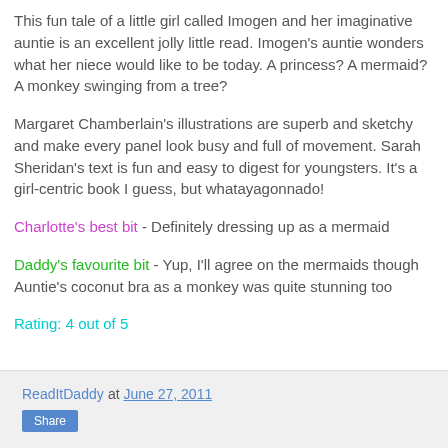This fun tale of a little girl called Imogen and her imaginative auntie is an excellent jolly little read. Imogen's auntie wonders what her niece would like to be today. A princess? A mermaid? A monkey swinging from a tree?
Margaret Chamberlain's illustrations are superb and sketchy and make every panel look busy and full of movement. Sarah Sheridan's text is fun and easy to digest for youngsters. It's a girl-centric book I guess, but whatayagonnado!
Charlotte's best bit - Definitely dressing up as a mermaid
Daddy's favourite bit - Yup, I'll agree on the mermaids though Auntie's coconut bra as a monkey was quite stunning too
Rating: 4 out of 5
ReadItDaddy at June 27, 2011